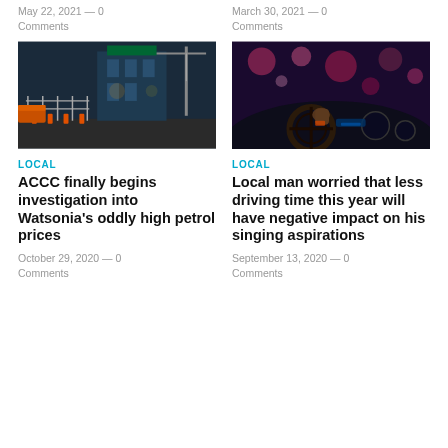May 22, 2021 — 0 Comments
March 30, 2021 — 0 Comments
[Figure (photo): Construction site at night with fencing, orange bollards, and industrial equipment]
[Figure (photo): Person driving a car at night, hands on steering wheel, bokeh city lights in background]
LOCAL
ACCC finally begins investigation into Watsonia's oddly high petrol prices
October 29, 2020 — 0 Comments
LOCAL
Local man worried that less driving time this year will have negative impact on his singing aspirations
September 13, 2020 — 0 Comments